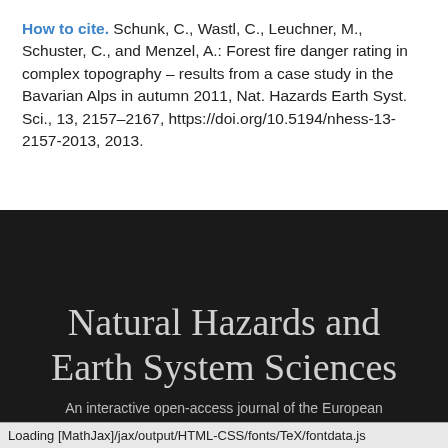How to cite. Schunk, C., Wastl, C., Leuchner, M., Schuster, C., and Menzel, A.: Forest fire danger rating in complex topography – results from a case study in the Bavarian Alps in autumn 2011, Nat. Hazards Earth Syst. Sci., 13, 2157–2167, https://doi.org/10.5194/nhess-13-2157-2013, 2013.
Natural Hazards and Earth System Sciences
An interactive open-access journal of the European
Loading [MathJax]/jax/output/HTML-CSS/fonts/TeX/fontdata.js